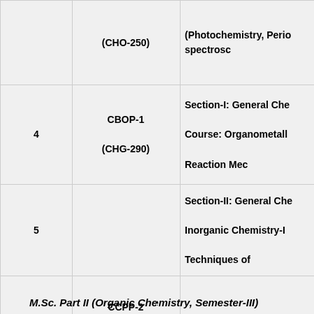| Sr. No. | Course Code | Course Title |
| --- | --- | --- |
|  | (CHO-250) | (Photochemistry, Pericyclic reactions and spectroscopy) |
| 4 | CBOP-1
(CHG-290) | Section-I: General Chemistry
Course: Organometallics and
Reaction Mechanisms |
| 5 |  | Section-II: General Chemistry
Inorganic Chemistry-B
Techniques of ... |
| 6 | CCPP-2
(CHP-227) | Basic Practical Chemistry |
M.Sc. Part II (Organic Chemistry, Semester-III)